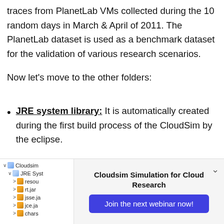traces from PlanetLab VMs collected during the 10 random days in March & April of 2011. The PlanetLab dataset is used as a benchmark dataset for the validation of various research scenarios.
Now let's move to the other folders:
JRE system library: It is automatically created during the first build process of the CloudSim by the eclipse.
[Figure (screenshot): Eclipse IDE project tree showing Cloudsim project with JRE System Library expanded, showing resources: resou, rt.jar, jsse.jar, jce.jar, charsets.jar]
Cloudsim Simulation for Cloud Research
Join the next webinar now!